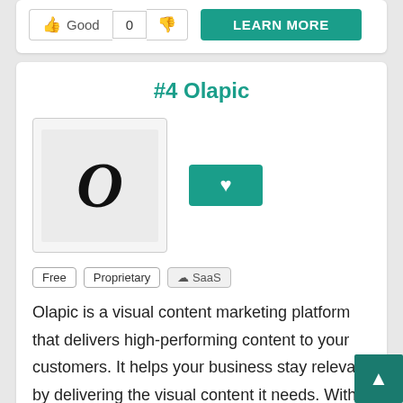[Figure (screenshot): Voting widget with thumbs up 'Good', count '0', thumbs down, and a teal 'LEARN MORE' button]
#4 Olapic
[Figure (logo): Olapic logo showing a stylized 'O' letter in black on light grey background, with a teal heart/favorite button to the right]
Free
Proprietary
SaaS
Olapic is a visual content marketing platform that delivers high-performing content to your customers. It helps your business stay releva by delivering the visual content it needs. With